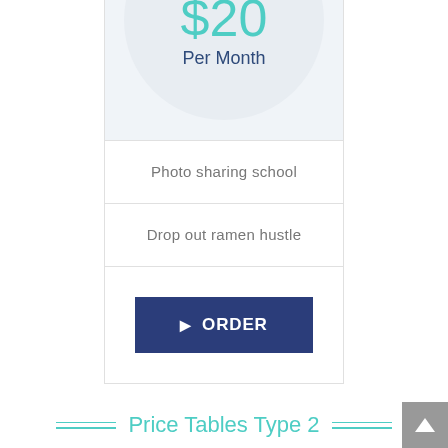$20
Per Month
Photo sharing school
Drop out ramen hustle
ORDER
Price Tables Type 2